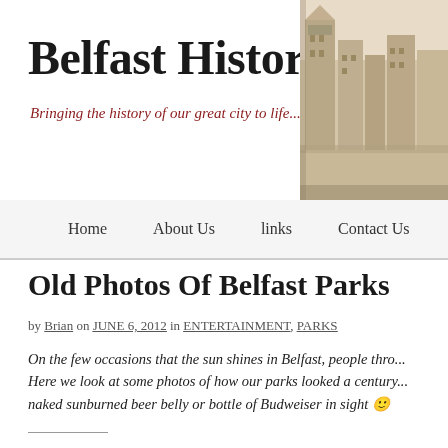Belfast History
Bringing the history of our great city to life...
[Figure (photo): Sepia-toned historical photograph of a Belfast city street scene, circa early 20th century, showing buildings and crowds]
Home   About Us   links   Contact Us
Old Photos Of Belfast Parks
by Brian on JUNE 6, 2012 in ENTERTAINMENT, PARKS
On the few occasions that the sun shines in Belfast, people thro... Here we look at some photos of how our parks looked a century... naked sunburned beer belly or bottle of Budweiser in sight 🙂